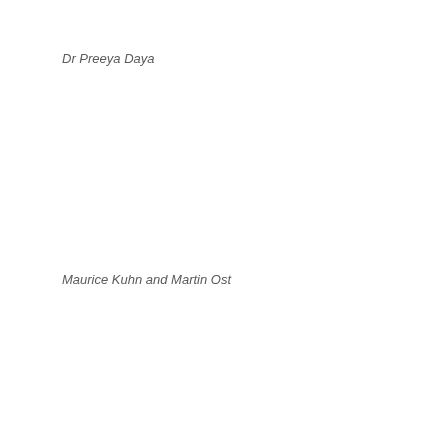Dr Preeya Daya
Maurice Kuhn and Martin Ost